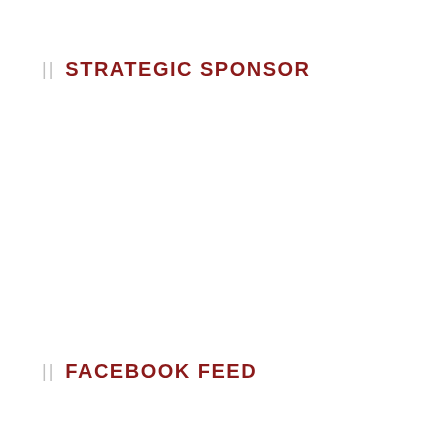STRATEGIC SPONSOR
FACEBOOK FEED